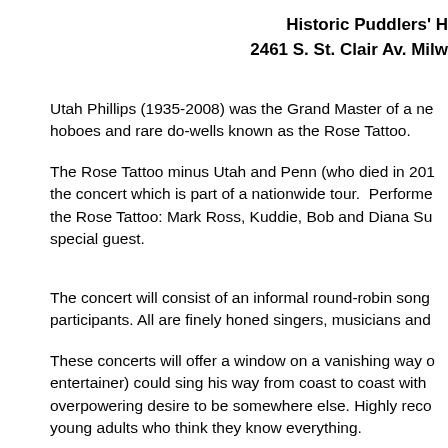Historic Puddlers' H
2461 S. St. Clair Av. Milw
Utah Phillips (1935-2008) was the Grand Master of a ne hoboes and rare do-wells known as the Rose Tattoo.
The Rose Tattoo minus Utah and Penn (who died in 201 the concert which is part of a nationwide tour. Performe the Rose Tattoo: Mark Ross, Kuddie, Bob and Diana Su special guest.
The concert will consist of an informal round-robin song participants. All are finely honed singers, musicians and
These concerts will offer a window on a vanishing way o entertainer) could sing his way from coast to coast with overpowering desire to be somewhere else. Highly reco young adults who think they know everything.